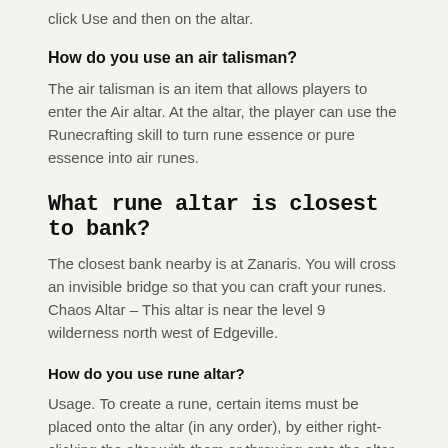click Use and then on the altar.
How do you use an air talisman?
The air talisman is an item that allows players to enter the Air altar. At the altar, the player can use the Runecrafting skill to turn rune essence or pure essence into air runes.
What rune altar is closest to bank?
The closest bank nearby is at Zanaris. You will cross an invisible bridge so that you can craft your runes. Chaos Altar – This altar is near the level 9 wilderness north west of Edgeville.
How do you use rune altar?
Usage. To create a rune, certain items must be placed onto the altar (in any order), by either right-clicking the altar with them or throwing onto the altar. The placed items will be shown orbiting above the altar. Looking at